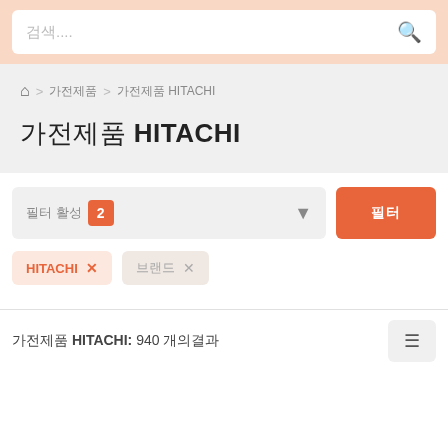검색....
홈 > 가전제품 > 가전제품 HITACHI
가전제품 HITACHI
필터 2 | 필터
HITACHI × | 브랜드 ×
가전제품 HITACHI: 940 개의결과